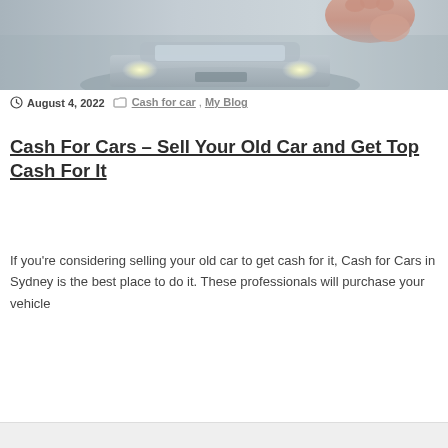[Figure (photo): A person holding car keys with a car in the background, partially cropped at the top of the page.]
August 4, 2022   Cash for car, My Blog
Cash For Cars – Sell Your Old Car and Get Top Cash For It
If you’re considering selling your old car to get cash for it, Cash for Cars in Sydney is the best place to do it. These professionals will purchase your vehicle